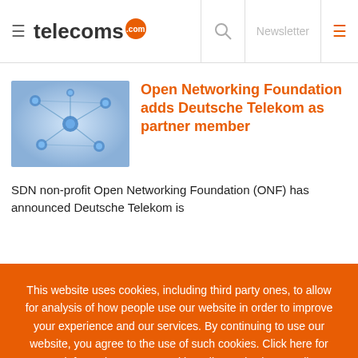telecoms.com — Newsletter
[Figure (photo): Network nodes illustration showing connected spheres on blue gradient background]
Open Networking Foundation adds Deutsche Telekom as partner member
SDN non-profit Open Networking Foundation (ONF) has announced Deutsche Telekom is
This website uses cookies, including third party ones, to allow for analysis of how people use our website in order to improve your experience and our services. By continuing to use our website, you agree to the use of such cookies. Click here for more information on our Cookie Policy and Privacy Policy.